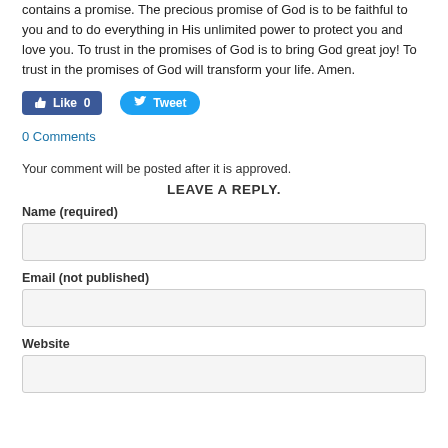contains a promise.  The precious promise of God is to be faithful to you and to do everything in His unlimited power to protect you and love you. To trust in the promises of God is to bring God great joy! To trust in the promises of God will transform your life.  Amen.
[Figure (screenshot): Social media buttons: Facebook Like (count 0) and Twitter Tweet]
0 Comments
Your comment will be posted after it is approved.
LEAVE A REPLY.
Name (required)
Email (not published)
Website